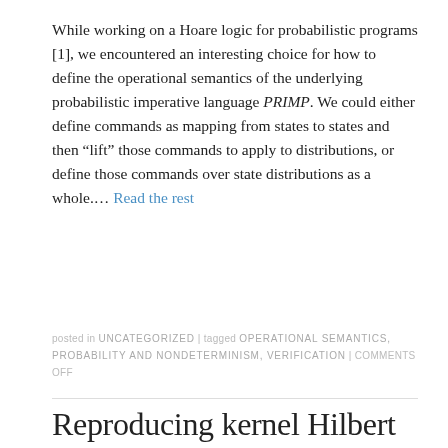While working on a Hoare logic for probabilistic programs [1], we encountered an interesting choice for how to define the operational semantics of the underlying probabilistic imperative language PRIMP. We could either define commands as mapping from states to states and then “lift” those commands to apply to distributions, or define those commands over state distributions as a whole.… Read the rest
posted in UNCATEGORIZED | tagged OPERATIONAL SEMANTICS, PROBABILITY AND NONDETERMINISM, VERIFICATION | COMMENTS OFF
Reproducing kernel Hilbert space semantics for probabilistic programs
by ADAM ŚCIBOR posted on 2015-12-16